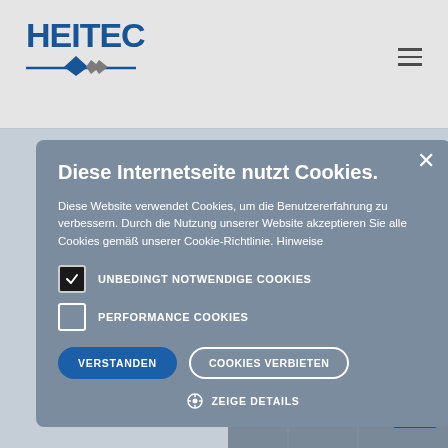[Figure (screenshot): HEITEC website header with blue logo and hamburger menu icon]
area of
the HEITEC
vides high-
mers.
Diese Internetseite nutzt Cookies.
Diese Website verwendet Cookies, um die Benutzererfahrung zu verbessern. Durch die Nutzung unserer Website akzeptieren Sie alle Cookies gemäß unserer Cookie-Richtlinie. Hinweise
UNBEDINGT NOTWENDIGE COOKIES
PERFORMANCE COOKIES
VERSTANDEN
COOKIES VERBIETEN
ZEIGE DETAILS
[Figure (screenshot): reCAPTCHA widget with robot icon and Privacy/Terms links]
[Figure (photo): Industrial facility or manufacturing floor photo at bottom right]
Privacy · Terms